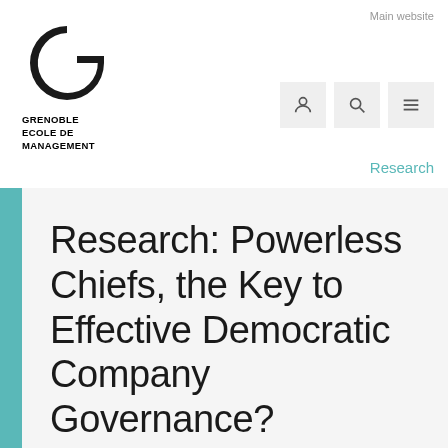[Figure (logo): Grenoble Ecole de Management logo with large G lettermark and school name in bold uppercase]
Main website
Research
Research: Powerless Chiefs, the Key to Effective Democratic Company Governance?